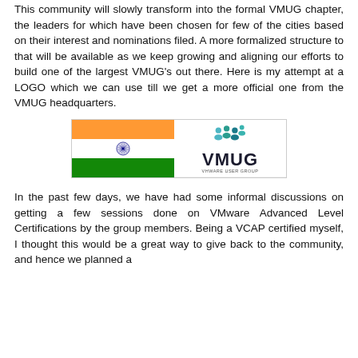This community will slowly transform into the formal VMUG chapter, the leaders for which have been chosen for few of the cities based on their interest and nominations filed. A more formalized structure to that will be available as we keep growing and aligning our efforts to build one of the largest VMUG's out there. Here is my attempt at a LOGO which we can use till we get a more official one from the VMUG headquarters.
[Figure (logo): Indian flag combined with VMUG (VMware User Group) logo on a light gray background]
In the past few days, we have had some informal discussions on getting a few sessions done on VMware Advanced Level Certifications by the group members. Being a VCAP certified myself, I thought this would be a great way to give back to the community, and hence we planned a